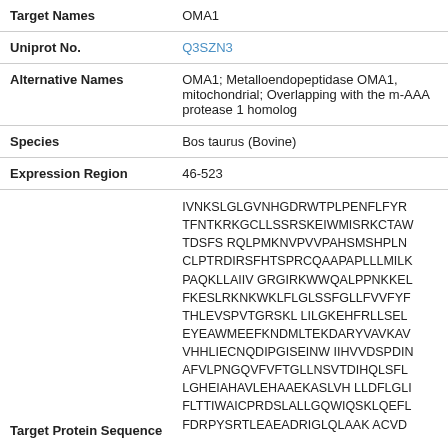| Target Names | OMA1 |
| Uniprot No. | Q3SZN3 |
| Alternative Names | OMA1; Metalloendopeptidase OMA1, mitochondrial; Overlapping with the m-AAA protease 1 homolog |
| Species | Bos taurus (Bovine) |
| Expression Region | 46-523 |
| Target Protein Sequence | IVNKSLGLGVNHGDRWTPLPENFLFYR TFNTKRKGCLLSSRSKEIWMISRKCTAW TDSFS RQLPMKNVPVVPAHSMSHPLN CLPTRDIRSFHTSPRCQAAPAPLLMILK PAQKLLAIIV GRGIRKWWQALPPNKKEL FKESLRKNKWKLFLGLSSFGLLFVVFYF THLEVSPVTGRSKL LILGKEHFRLLSEL EYEAWMEEFKNDMLTEKDARYVAVKAV VHHLIECNQDIPGISEINW IIHVVDSPDIN AFVLPNGQVFVFTGLLNSVTDIHQLSFL LGHEIAHAVLEHAAEKASLVH LLDFLGLI FLTTIWAICPRDSLALLGQWIQSKLQEFL FDRPYSRTLEAEADRIGLQLAAK ACVD |